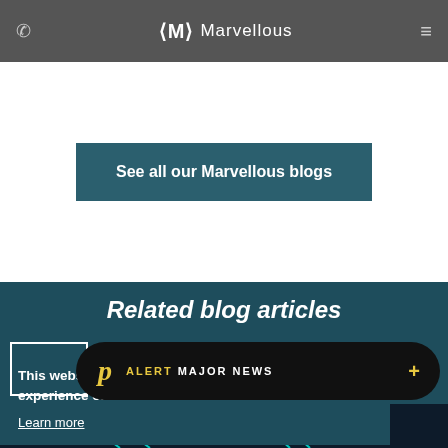Marvellous
See all our Marvellous blogs
Related blog articles
This website uses cookies to ensure you get the best experience on our website.
Learn more
p ALERT MAJOR NEWS +